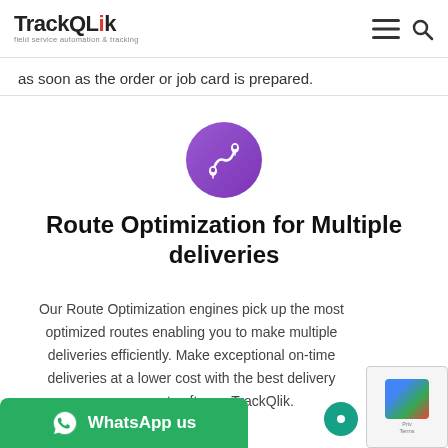TrackQLek — field service automation & tracking
as soon as the order or job card is prepared.
[Figure (illustration): Purple circular icon with a route/delivery map path and location pins]
Route Optimization for Multiple deliveries
Our Route Optimization engines pick up the most optimized routes enabling you to make multiple deliveries efficiently. Make exceptional on-time deliveries at a lower cost with the best delivery management software TrackQlik.
[Figure (other): Green WhatsApp us button with WhatsApp icon]
[Figure (other): reCAPTCHA widget and chat button]